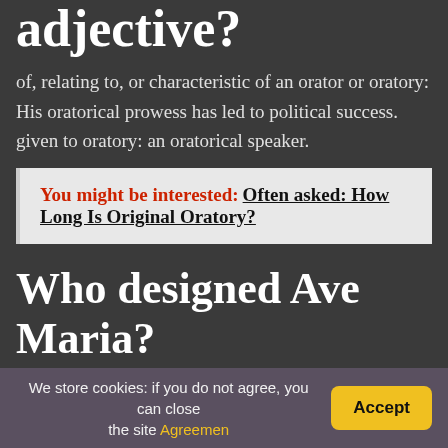adjective?
of, relating to, or characteristic of an orator or oratory: His oratorical prowess has led to political success. given to oratory: an oratorical speaker.
You might be interested: Often asked: How Long Is Original Oratory?
Who designed Ave Maria?
The landmark church received an architectural
We store cookies: if you do not agree, you can close the site Agreemen   Accept